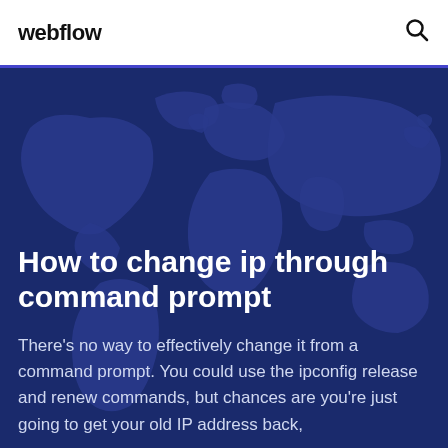webflow
[Figure (illustration): World map silhouette in dark blue, used as hero section background]
How to change ip through command prompt
There's no way to effectively change it from a command prompt. You could use the ipconfig release and renew commands, but chances are you're just going to get your old IP address back,